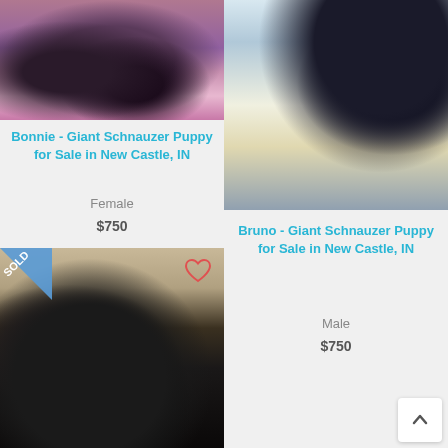[Figure (photo): Black Giant Schnauzer puppies on purple and striped blankets]
Bonnie - Giant Schnauzer Puppy for Sale in New Castle, IN
Female
$750
[Figure (photo): Black Giant Schnauzer puppy seen from behind climbing a teal painted wooden chair with yellow striped cloth]
Bruno - Giant Schnauzer Puppy for Sale in New Castle, IN
Male
$750
[Figure (photo): Black Giant Schnauzer puppy face close-up with SOLD banner in top-left corner and heart icon in top-right]